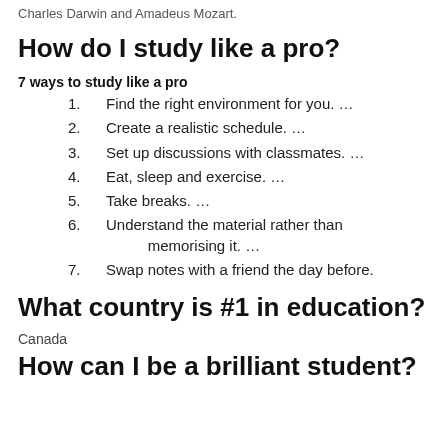Charles Darwin and Amadeus Mozart.
How do I study like a pro?
7 ways to study like a pro
Find the right environment for you. …
Create a realistic schedule. …
Set up discussions with classmates. …
Eat, sleep and exercise. …
Take breaks. …
Understand the material rather than memorising it. …
Swap notes with a friend the day before.
What country is #1 in education?
Canada
How can I be a brilliant student?